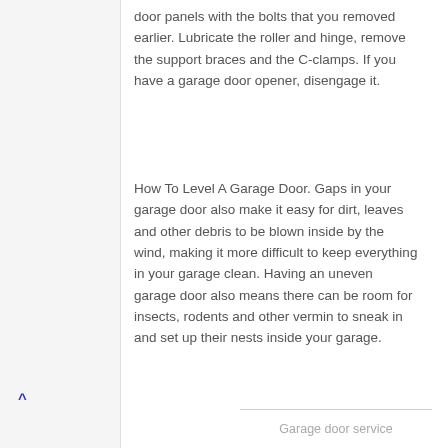door panels with the bolts that you removed earlier. Lubricate the roller and hinge, remove the support braces and the C-clamps. If you have a garage door opener, disengage it.
How To Level A Garage Door. Gaps in your garage door also make it easy for dirt, leaves and other debris to be blown inside by the wind, making it more difficult to keep everything in your garage clean. Having an uneven garage door also means there can be room for insects, rodents and other vermin to sneak in and set up their nests inside your garage.
Garage door service